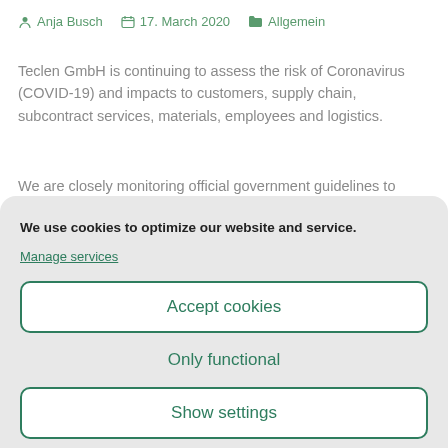Anja Busch   17. March 2020   Allgemein
Teclen GmbH is continuing to assess the risk of Coronavirus (COVID-19) and impacts to customers, supply chain, subcontract services, materials, employees and logistics.
We are closely monitoring official government guidelines to
We use cookies to optimize our website and service.
Manage services
Accept cookies
Only functional
Show settings
Cookie-Richtlinie   Data Privacy Policy